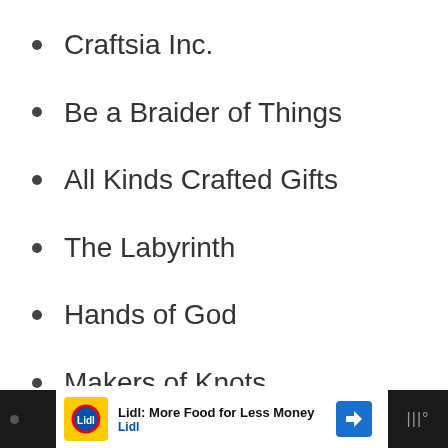Craftsia Inc.
Be a Braider of Things
All Kinds Crafted Gifts
The Labyrinth
Hands of God
Makers of Knots